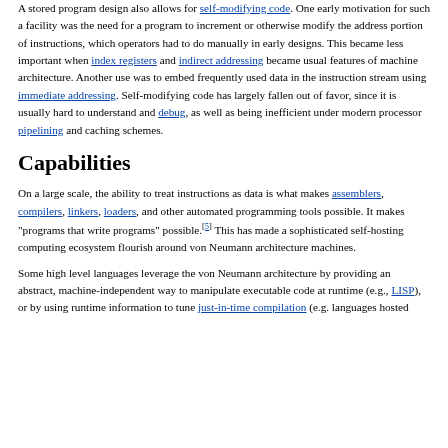A stored program design also allows for self-modifying code. One early motivation for such a facility was the need for a program to increment or otherwise modify the address portion of instructions, which operators had to do manually in early designs. This became less important when index registers and indirect addressing became usual features of machine architecture. Another use was to embed frequently used data in the instruction stream using immediate addressing. Self-modifying code has largely fallen out of favor, since it is usually hard to understand and debug, as well as being inefficient under modern processor pipelining and caching schemes.
Capabilities
On a large scale, the ability to treat instructions as data is what makes assemblers, compilers, linkers, loaders, and other automated programming tools possible. It makes "programs that write programs" possible.[5] This has made a sophisticated self-hosting computing ecosystem flourish around von Neumann architecture machines.
Some high level languages leverage the von Neumann architecture by providing an abstract, machine-independent way to manipulate executable code at runtime (e.g., LISP), or by using runtime information to tune just-in-time compilation (e.g. languages hosted